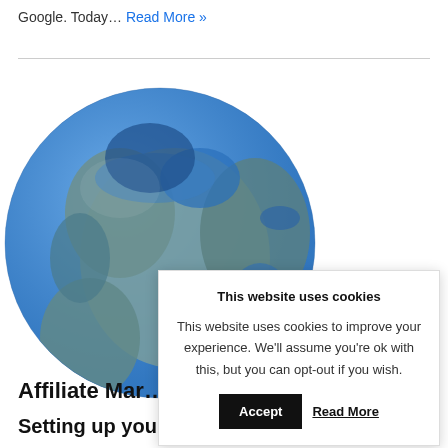Google. Today… Read More »
[Figure (illustration): Globe/Earth illustration showing continents in teal/gray tones on a blue ocean background]
This website uses cookies

This website uses cookies to improve your experience. We'll assume you're ok with this, but you can opt-out if you wish.

[Accept] [Read More]
Affiliate Mar…
Setting up your blog!